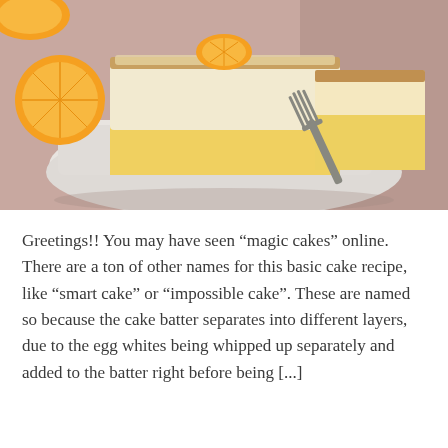[Figure (photo): A close-up food photograph of a slice of magic cake (layered sponge and custard) on a white plate with a fork, garnished with a wedge of orange, with more oranges visible in the background on a pink/mauve surface.]
Greetings!! You may have seen “magic cakes” online. There are a ton of other names for this basic cake recipe, like “smart cake” or “impossible cake”. These are named so because the cake batter separates into different layers, due to the egg whites being whipped up separately and added to the batter right before being [...]